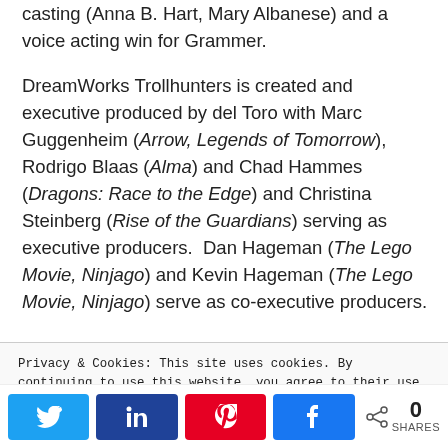casting (Anna B. Hart, Mary Albanese) and a voice acting win for Grammer.

DreamWorks Trollhunters is created and executive produced by del Toro with Marc Guggenheim (Arrow, Legends of Tomorrow), Rodrigo Blaas (Alma) and Chad Hammes (Dragons: Race to the Edge) and Christina Steinberg (Rise of the Guardians) serving as executive producers.  Dan Hageman (The Lego Movie, Ninjago) and Kevin Hageman (The Lego Movie, Ninjago) serve as co-executive producers.
Privacy & Cookies: This site uses cookies. By continuing to use this website, you agree to their use.
To find out more, including how to control cookies, see here: Cookie Policy